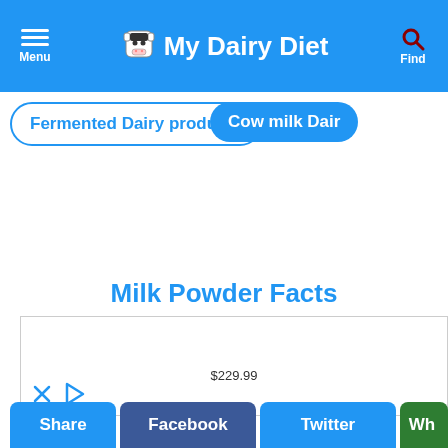My Dairy Diet — Menu / Find navigation bar
Fermented Dairy products
Cow milk Dairy
[Figure (screenshot): Advertisement box showing $229.99 price with X and play icons]
Milk Powder Facts
[Figure (photo): Photo strip: glass of milk on black background and partial white cup image, with ADD Compare button overlay]
Share | Facebook | Twitter | Wh... (share buttons bar)